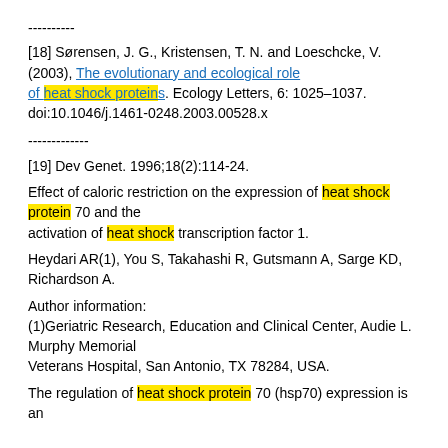----------
[18] Sørensen, J. G., Kristensen, T. N. and Loeschcke, V. (2003), The evolutionary and ecological role of heat shock proteins. Ecology Letters, 6: 1025–1037. doi:10.1046/j.1461-0248.2003.00528.x
-------------
[19] Dev Genet. 1996;18(2):114-24.
Effect of caloric restriction on the expression of heat shock protein 70 and the activation of heat shock transcription factor 1.
Heydari AR(1), You S, Takahashi R, Gutsmann A, Sarge KD, Richardson A.
Author information:
(1)Geriatric Research, Education and Clinical Center, Audie L. Murphy Memorial Veterans Hospital, San Antonio, TX 78284, USA.
The regulation of heat shock protein 70 (hsp70) expression is an